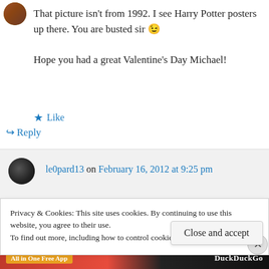[Figure (photo): Small circular avatar photo of a person in upper left]
That picture isn't from 1992. I see Harry Potter posters up there. You are busted sir 😉

Hope you had a great Valentine's Day Michael!
★ Like
↪ Reply
le0pard13 on February 16, 2012 at 9:25 pm
Privacy & Cookies: This site uses cookies. By continuing to use this website, you agree to their use.
To find out more, including how to control cookies, see here: Cookie Policy
Close and accept